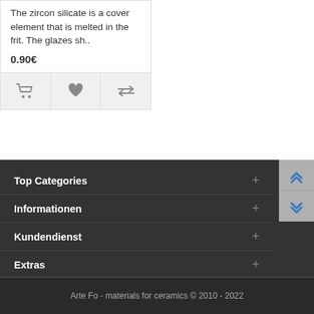The zircon silicate is a cover element that is melted in the frit. The glazes sh..
0.90€
[Figure (screenshot): Three action buttons: cart icon, heart/wishlist icon, compare arrows icon]
Top Categories +
Informationen +
Kundendienst +
Extras +
Arte Fo - materials for ceramics © 2010 - 2022